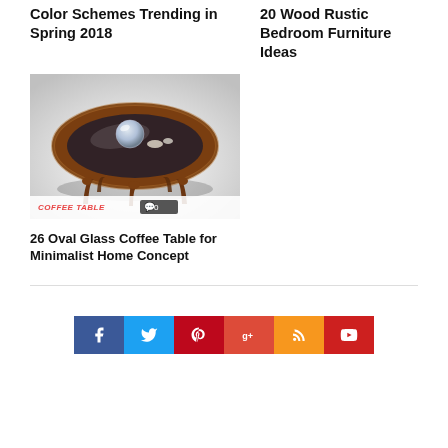Color Schemes Trending in Spring 2018
20 Wood Rustic Bedroom Furniture Ideas
[Figure (photo): Oval glass coffee table with dark wood frame and turned legs on a white background, with decorative glass orb on top. Tag overlay shows COFFEE TABLE category and comment count of 0.]
26 Oval Glass Coffee Table for Minimalist Home Concept
[Figure (infographic): Social media sharing buttons row: Facebook (blue), Twitter (light blue), Pinterest (red), Google+ (orange-red), RSS (orange), YouTube (red)]